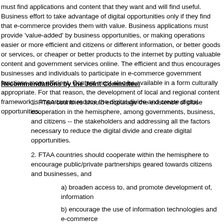must find applications and content that they want and will find useful. Business effort to take advantage of digital opportunities only if they find that e-commerce provides them with value. Business applications must provide 'value-added' by business opportunities, or making operations easier or more efficient and citizens or different information, or better goods or services, or cheaper or better products to the internet by putting valuable content and government services online. The efficient and thus encourages businesses and individuals to participate in e-commerce government functions more efficient. Content must also be available in a form culturally appropriate. For that reason, the development of local and regional content framework is important to reduce the digital divide and create digital opportunities.
Recommendations by the Joint Committee:
1. FTAA countries should encourage the existence of close cooperation in the hemisphere, among governments, business, and citizens -- the stakeholders and addressing all the factors necessary to reduce the digital divide and create digital opportunities.
2. FTAA countries should cooperate within the hemisphere to encourage public/private partnerships geared towards citizens and businesses, and
a) broaden access to, and promote development of, information
b) encourage the use of information technologies and e-commerce
c) promote digital opportunities resulting from the growth in electronic framing laws and regulations that govern the main aspects of international electronic commerce among the countries of the hemisphere, and